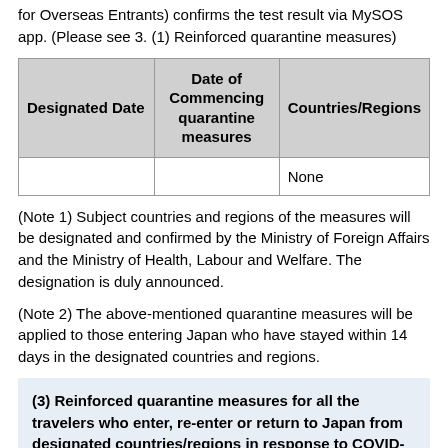for Overseas Entrants) confirms the test result via MySOS app. (Please see 3. (1) Reinforced quarantine measures)
| Designated Date | Date of Commencing quarantine measures | Countries/Regions |
| --- | --- | --- |
|  |  | None |
(Note 1) Subject countries and regions of the measures will be designated and confirmed by the Ministry of Foreign Affairs and the Ministry of Health, Labour and Welfare. The designation is duly announced.
(Note 2) The above-mentioned quarantine measures will be applied to those entering Japan who have stayed within 14 days in the designated countries and regions.
(3) Reinforced quarantine measures for all the travelers who enter, re-enter or return to Japan from designated countries/regions in response to COVID-19 infection other than coronavirus variants of special treatment on